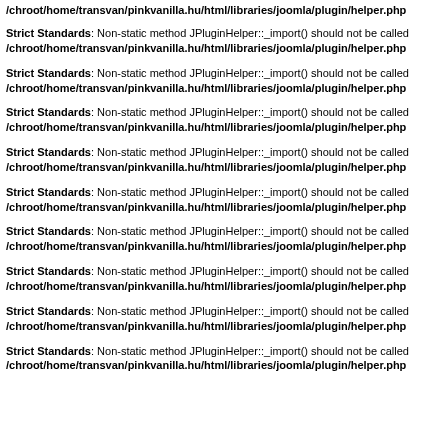/chroot/home/transvan/pinkvanilla.hu/html/libraries/joomla/plugin/helper.php
Strict Standards: Non-static method JPluginHelper::_import() should not be called /chroot/home/transvan/pinkvanilla.hu/html/libraries/joomla/plugin/helper.php
Strict Standards: Non-static method JPluginHelper::_import() should not be called /chroot/home/transvan/pinkvanilla.hu/html/libraries/joomla/plugin/helper.php
Strict Standards: Non-static method JPluginHelper::_import() should not be called /chroot/home/transvan/pinkvanilla.hu/html/libraries/joomla/plugin/helper.php
Strict Standards: Non-static method JPluginHelper::_import() should not be called /chroot/home/transvan/pinkvanilla.hu/html/libraries/joomla/plugin/helper.php
Strict Standards: Non-static method JPluginHelper::_import() should not be called /chroot/home/transvan/pinkvanilla.hu/html/libraries/joomla/plugin/helper.php
Strict Standards: Non-static method JPluginHelper::_import() should not be called /chroot/home/transvan/pinkvanilla.hu/html/libraries/joomla/plugin/helper.php
Strict Standards: Non-static method JPluginHelper::_import() should not be called /chroot/home/transvan/pinkvanilla.hu/html/libraries/joomla/plugin/helper.php
Strict Standards: Non-static method JPluginHelper::_import() should not be called /chroot/home/transvan/pinkvanilla.hu/html/libraries/joomla/plugin/helper.php
Strict Standards: Non-static method JPluginHelper::_import() should not be called /chroot/home/transvan/pinkvanilla.hu/html/libraries/joomla/plugin/helper.php